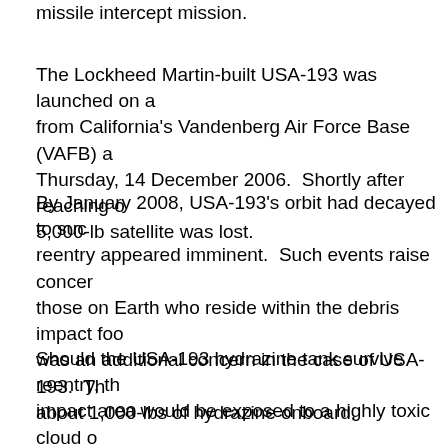missile intercept mission.
The Lockheed Martin-built USA-193 was launched on a from California's Vandenberg Air Force Base (VAFB) a Thursday, 14 December 2006.  Shortly after reaching o 5,000-lb satellite was lost.
By January 2008, USA-193's orbit had decayed to suc reentry appeared imminent.  Such events raise concer those on Earth who reside within the debris impact foo was an additional concern in the case of USA-193.  Th about 1,000-lbs of hydrazine onboard.
Should the USA-193 hydrazine tank survive reentry, th impact area would be exposed to a highly toxic cloud o substance.  Officials concluded that the safest thing to satellite before it reentered the atmosphere.